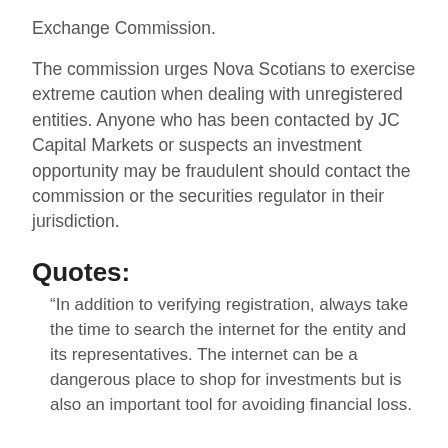Exchange Commission.
The commission urges Nova Scotians to exercise extreme caution when dealing with unregistered entities. Anyone who has been contacted by JC Capital Markets or suspects an investment opportunity may be fraudulent should contact the commission or the securities regulator in their jurisdiction.
Quotes:
“In addition to verifying registration, always take the time to search the internet for the entity and its representatives. The internet can be a dangerous place to shop for investments but is also an important tool for avoiding financial loss.